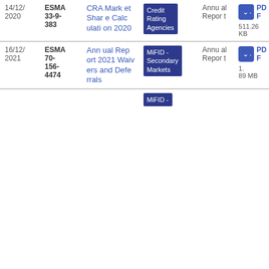| Date | Reference | Title | Category | Type | Download |
| --- | --- | --- | --- | --- | --- |
| 14/12/2020 | ESMA 33-9-383 | CRA Market Share Calculation 2020 | Credit Rating Agencies | Annual Report | PDF 511.26 KB |
| 16/12/2021 | ESMA 70-156-4474 | Annual Report 2021 Waivers and Deferrals | MiFID - Secondary Markets | Annual Report | PDF 1.89 MB |
|  |  |  | MiFID - |  |  |